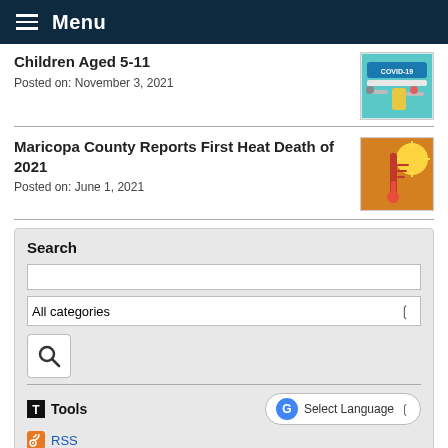Menu
Children Aged 5-11
Posted on: November 3, 2021
Maricopa County Reports First Heat Death of 2021
Posted on: June 1, 2021
Search
Tools
RSS
Categories